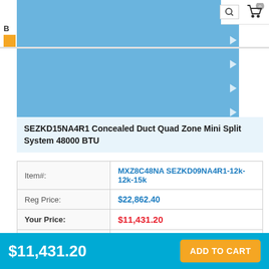[Figure (screenshot): Blue product image panel with white chevron arrows along right edge, showing a product carousel for an HVAC mini split system]
SEZKD15NA4R1 Concealed Duct Quad Zone Mini Split System 48000 BTU
| Field | Value |
| --- | --- |
| Item#: | MXZ8C48NA SEZKD09NA4R1-12k-12k-15k |
| Reg Price: | $22,862.40 |
| Your Price: | $11,431.20 |
| Choose QTY: | 1 |
$11,431.20
ADD TO CART